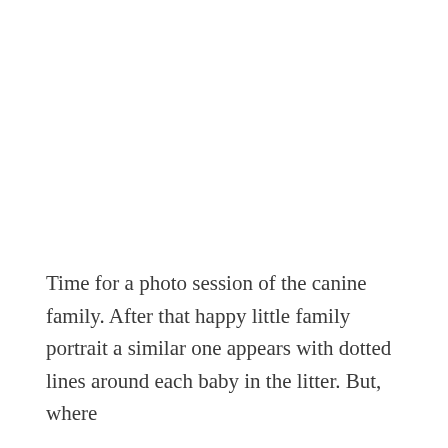Time for a photo session of the canine family. After that happy little family portrait a similar one appears with dotted lines around each baby in the litter. But, where